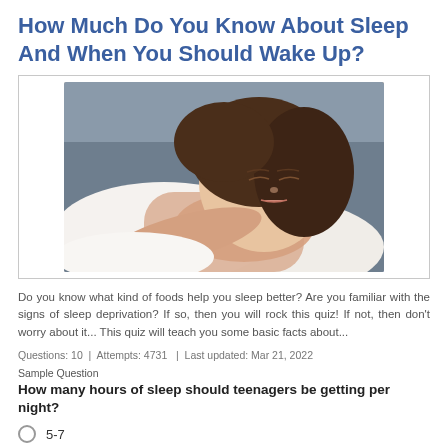How Much Do You Know About Sleep And When You Should Wake Up?
[Figure (photo): A young woman sleeping peacefully on a white pillow against a gray background]
Do you know what kind of foods help you sleep better? Are you familiar with the signs of sleep deprivation? If so, then you will rock this quiz! If not, then don't worry about it... This quiz will teach you some basic facts about...
Questions: 10  |  Attempts: 4731  |  Last updated: Mar 21, 2022
Sample Question
How many hours of sleep should teenagers be getting per night?
5-7
8-10